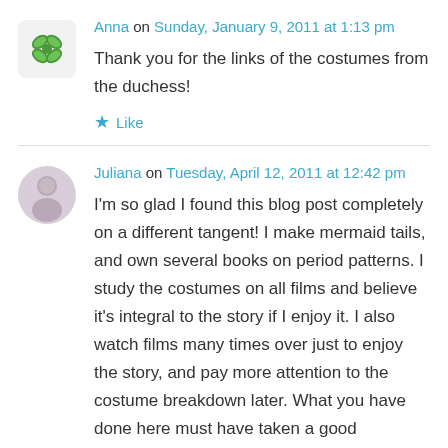[Figure (illustration): Avatar icon for Anna: green butterfly/clover symbol on light background, rounded square shape]
Anna on Sunday, January 9, 2011 at 1:13 pm
Thank you for the links of the costumes from the duchess!
★ Like
[Figure (photo): Avatar photo for Juliana: woman with light hair, circular crop]
Juliana on Tuesday, April 12, 2011 at 12:42 pm
I'm so glad I found this blog post completely on a different tangent! I make mermaid tails, and own several books on period patterns. I study the costumes on all films and believe it's integral to the story if I enjoy it. I also watch films many times over just to enjoy the story, and pay more attention to the costume breakdown later. What you have done here must have taken a good